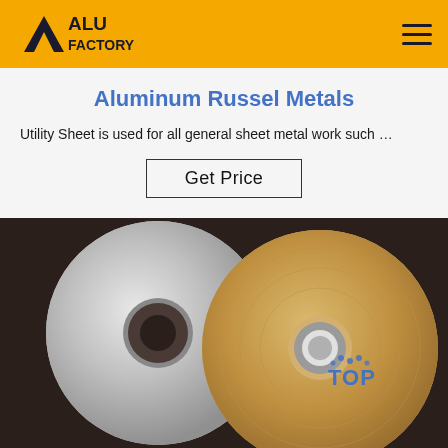ALU FACTORY
Aluminum Russel Metals
Utility Sheet is used for all general sheet metal work such …
Get Price
[Figure (photo): Two rolls of aluminum sheet/foil — one shiny metallic roll on the left and one brown/kraft paper-backed roll on the right, viewed face-on showing their circular cross-sections and center holes. A 'TOP' watermark logo appears in the lower right corner.]